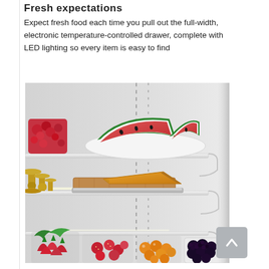Fresh expectations
Expect fresh food each time you pull out the full-width, electronic temperature-controlled drawer, complete with LED lighting so every item is easy to find
[Figure (photo): Interior of a refrigerator showing shelves with sliced watermelon on a white plate on the top shelf, cheese wedge and cutting board with golden decorative cups on the middle shelf, and bowls of berries, strawberries, and kumquats on the lower shelf. The interior is brightly lit with white LED lighting.]